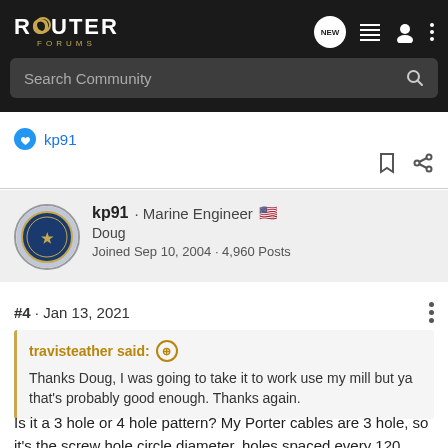ROUTER FORUMS
Search Community
kp91
kp91 · Marine Engineer 🇺🇸
Doug
Joined Sep 10, 2004 · 4,960 Posts
#4 · Jan 13, 2021
travisteather said:
Thanks Doug, I was going to take it to work use my mill but ya that's probably good enough. Thanks again.
Is it a 3 hole or 4 hole pattern? My Porter cables are 3 hole, so it's the screw hole circle diameter, holes spaced every 120